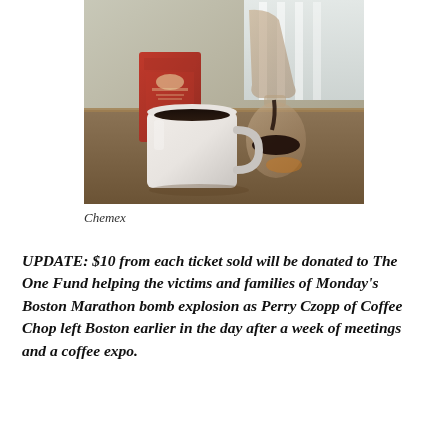[Figure (photo): A white coffee mug filled with black coffee sits on a table next to a red bag of Intelligentsia coffee and a Chemex glass coffee brewer pouring dark coffee, with a bright window background.]
Chemex
UPDATE: $10 from each ticket sold will be donated to The One Fund helping the victims and families of Monday's Boston Marathon bomb explosion as Perry Czopp of Coffee Chop left Boston earlier in the day after a week of meetings and a coffee expo.